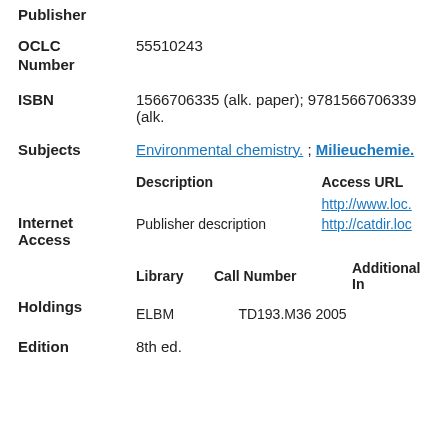Publisher
| Field | Value |
| --- | --- |
| OCLC Number | 55510243 |
| ISBN | 1566706335 (alk. paper); 9781566706339 (alk. |
| Subjects | Environmental chemistry. ; Milieuchemie. |
| Description | Access URL |
| --- | --- |
|  | http://www.loc... |
| Publisher description | http://catdir.loc... |
| Library | Call Number | Additional In... |
| --- | --- | --- |
| ELBM | TD193.M36 2005 |  |
Edition: 8th ed.